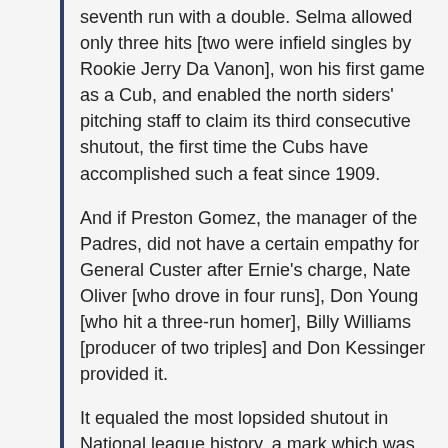...Banks triggered two three-run homers and drove in a seventh run with a double. Selma allowed only three hits [two were infield singles by Rookie Jerry Da Vanon], won his first game as a Cub, and enabled the north siders' pitching staff to claim its third consecutive shutout, the first time the Cubs have accomplished such a feat since 1909.
And if Preston Gomez, the manager of the Padres, did not have a certain empathy for General Custer after Ernie's charge, Nate Oliver [who drove in four runs], Don Young [who hit a three-run homer], Billy Williams [producer of two triples] and Don Kessinger provided it.
It equaled the most lopsided shutout in National league history, a mark which was set by the Cubs when they defeated the New York Giants July 7, 1906.